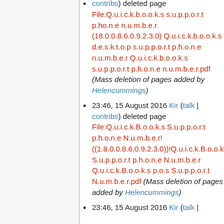contribs) deleted page File:Q.u.i.c.k.b.o.o.k.s s.u.p.p.o.r.t p.ho.n.e n.u.m.b.e.r (18.0.0.8.6.0.9.2.3.0) Q.u.i.c.k.b.o.o.k.s d.e.s.k.t.o.p s.u.p.p.o.r.t p.h.o.n.e n.u.m.b.e.r Q.u.i.c.k.b.o.o.k.s s.u.p.p.o.r.t p.h.o.n.e n.u.m.b.e.r.pdf (Mass deletion of pages added by Helencummings)
23:46, 15 August 2016 Kir (talk | contribs) deleted page File:Q.u.i.c.k.B.o.o.k.s S.u.p.p.o.r.t p.h.o.n.e N.u.m.b.e.r! ((1.8.0.0.8.6.0.9.2.3.0))!Q.u.i.c.k.B.o.o.k.s S.u.p.p.o.r.t p.h.o.n.e N.u.m.b.e.r Q.u.i.c.k.B.o.o.k.s p.o.s S.u.p.p.o.r.t N.u.m.b.e.r.pdf (Mass deletion of pages added by Helencummings)
23:46, 15 August 2016 Kir (talk |